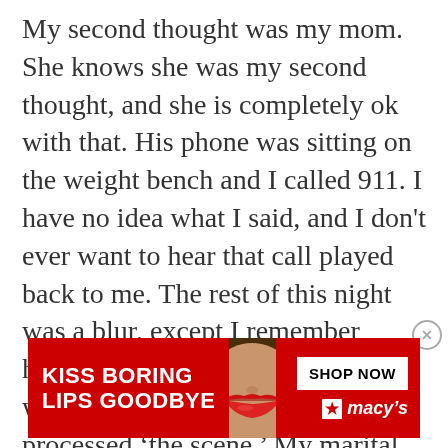My second thought was my mom. She knows she was my second thought, and she is completely ok with that. His phone was sitting on the weight bench and I called 911. I have no idea what I said, and I don't ever want to hear that call played back to me. The rest of this night was a blur, except I remember having to sit on my front porch while police and detectives processed ‘the scene.’ My marital bedroom and the rest of my home, while not being allowed to even make a phone call. I was in a jacket (no shirt) because I had used it to put pressure
[Figure (other): Advertisement banner for Macy's lipstick/beauty products. Red background with white text reading 'KISS BORING LIPS GOODBYE', a photo of a woman's face with red lips in the center, and on the right side a white 'SHOP NOW' button and the Macy's logo with red star.]